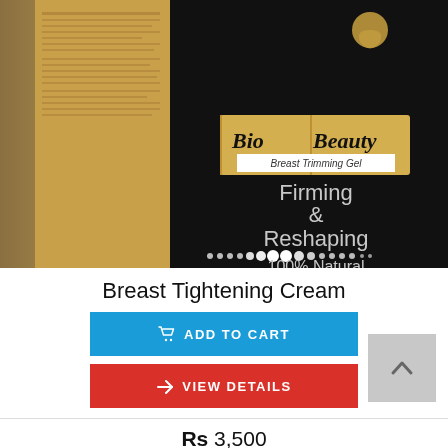[Figure (photo): Product photo of Bio Beauty Breast Trimming Gel box showing 'Firming & Reshaping' text on a dark background with gold/tan side panel]
Breast Tightening Cream
ADD TO CART
VIEW DETAILS
Rs 3,500